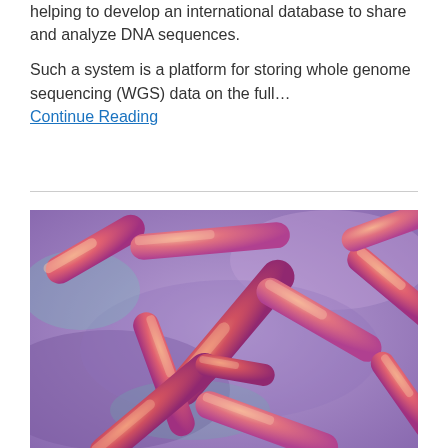helping to develop an international database to share and analyze DNA sequences.

Such a system is a platform for storing whole genome sequencing (WGS) data on the full...
Continue Reading
[Figure (photo): Close-up scientific illustration of rod-shaped bacteria (bacilli) rendered in pink/orange and purple tones on a purple background, resembling a microscopy image of bacterial organisms.]